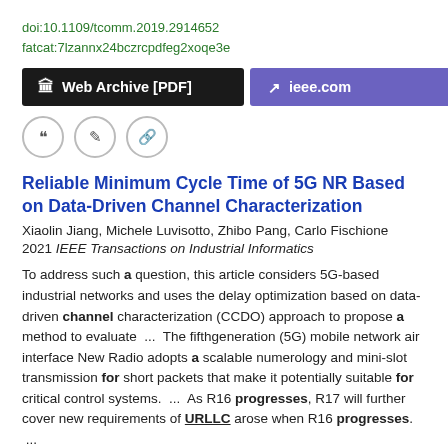doi:10.1109/tcomm.2019.2914652
fatcat:7lzannx24bczrcpdfeg2xoqe3e
[Figure (screenshot): Two buttons: 'Web Archive [PDF]' on black background and 'ieee.com' on purple background, with archive and external link icons]
[Figure (other): Three circular icon buttons: quote, edit, and link]
Reliable Minimum Cycle Time of 5G NR Based on Data-Driven Channel Characterization
Xiaolin Jiang, Michele Luvisotto, Zhibo Pang, Carlo Fischione
2021 IEEE Transactions on Industrial Informatics
To address such a question, this article considers 5G-based industrial networks and uses the delay optimization based on data-driven channel characterization (CCDO) approach to propose a method to evaluate  ...  The fifthgeneration (5G) mobile network air interface New Radio adopts a scalable numerology and mini-slot transmission for short packets that make it potentially suitable for critical control systems.  ...  As R16 progresses, R17 will further cover new requirements of URLLC arose when R16 progresses.  ...
doi:10.1109/tii.2021.3052922
fatcat:zbjo4wcapvdp3mu2farrv7c7aa